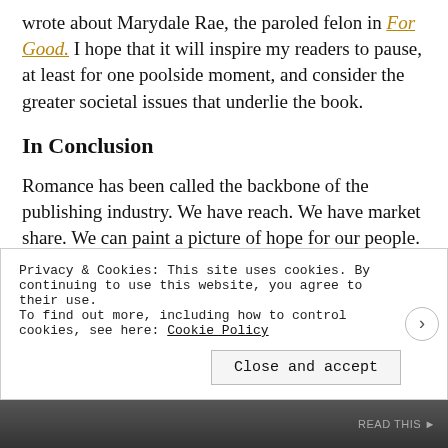wrote about Marydale Rae, the paroled felon in For Good. I hope that it will inspire my readers to pause, at least for one poolside moment, and consider the greater societal issues that underlie the book.
In Conclusion
Romance has been called the backbone of the publishing industry. We have reach. We have market share. We can paint a picture of hope for our people. We can teach love that defies gender roles. And if we are careful with the way we portray the “other,” and avoid the stereotypes that have, admittedly, plagued this genre in its previous incarnations,
Privacy & Cookies: This site uses cookies. By continuing to use this website, you agree to their use.
To find out more, including how to control cookies, see here: Cookie Policy
READ THIS ►